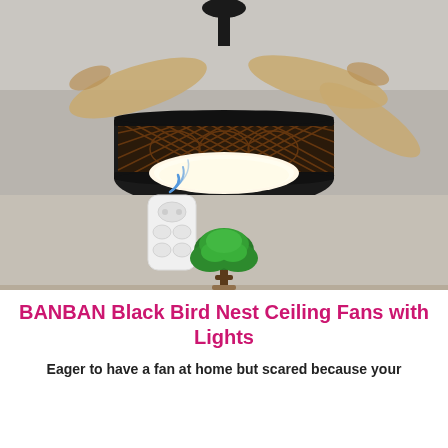[Figure (photo): A decorative black bird nest ceiling fan with retractable translucent blades and an ornate laser-cut drum shade with warm LED light below. A white remote control with blue signal waves floats in the air below the fan. A small green bonsai tree sits on the floor beneath. Room has light gray/beige walls.]
BANBAN Black Bird Nest Ceiling Fans with Lights
Eager to have a fan at home but scared because your